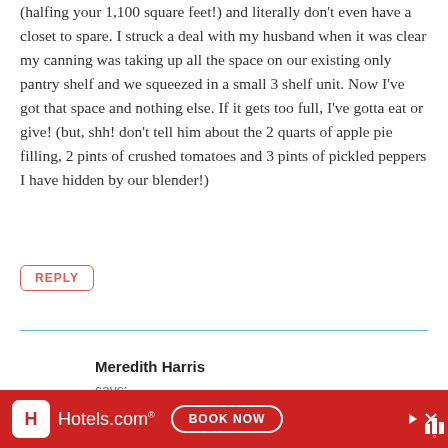(halfing your 1,100 square feet!) and literally don't even have a closet to spare. I struck a deal with my husband when it was clear my canning was taking up all the space on our existing only pantry shelf and we squeezed in a small 3 shelf unit. Now I've got that space and nothing else. If it gets too full, I've gotta eat or give! (but, shh! don't tell him about the 2 quarts of apple pie filling, 2 pints of crushed tomatoes and 3 pints of pickled peppers I have hidden by our blender!)
REPLY
Meredith Harris
says:
[Figure (other): Hotels.com advertisement banner with red background, Hotels.com logo, and BOOK NOW button]